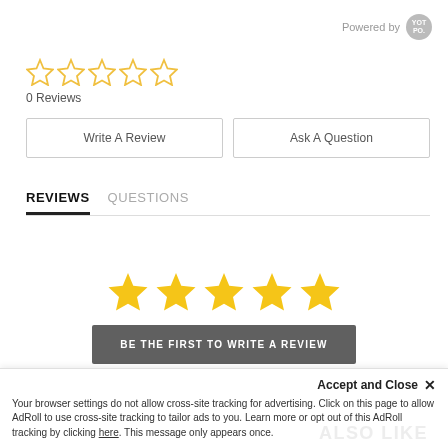Powered by [Yotpo]
[Figure (other): 5 empty gold star rating icons]
0 Reviews
Write A Review
Ask A Question
REVIEWS  QUESTIONS
[Figure (other): 5 solid gold star icons (large)]
BE THE FIRST TO WRITE A REVIEW
Accept and Close ×
Your browser settings do not allow cross-site tracking for advertising. Click on this page to allow AdRoll to use cross-site tracking to tailor ads to you. Learn more or opt out of this AdRoll tracking by clicking here. This message only appears once.